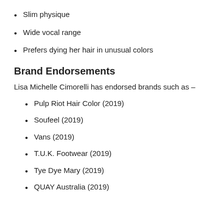Slim physique
Wide vocal range
Prefers dying her hair in unusual colors
Brand Endorsements
Lisa Michelle Cimorelli has endorsed brands such as –
Pulp Riot Hair Color (2019)
Soufeel (2019)
Vans (2019)
T.U.K. Footwear (2019)
Tye Dye Mary (2019)
QUAY Australia (2019)